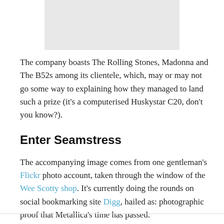[Figure (photo): Gray placeholder image area at top center of page]
The company boasts The Rolling Stones, Madonna and The B52s among its clientele, which, may or may not go some way to explaining how they managed to land such a prize (it's a computerised Huskystar C20, don't you know?).
Enter Seamstress
The accompanying image comes from one gentleman's Flickr photo account, taken through the window of the Wee Scotty shop. It's currently doing the rounds on social bookmarking site Digg, hailed as: photographic proof that Metallica's time has passed.